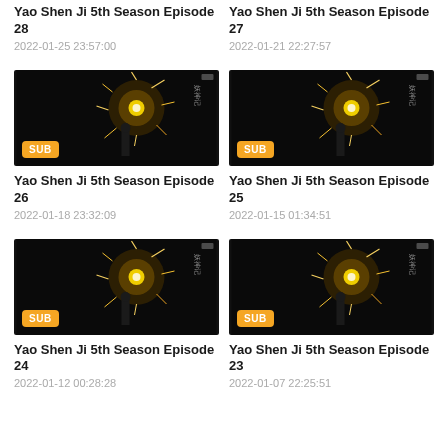Yao Shen Ji 5th Season Episode 28
2022-01-25 23:57:00
Yao Shen Ji 5th Season Episode 27
2022-01-21 22:27:57
[Figure (screenshot): Dark thumbnail with fireworks explosion, SUB badge]
[Figure (screenshot): Dark thumbnail with fireworks explosion, SUB badge]
Yao Shen Ji 5th Season Episode 26
2022-01-18 23:32:09
Yao Shen Ji 5th Season Episode 25
2022-01-15 01:34:51
[Figure (screenshot): Dark thumbnail with fireworks explosion, SUB badge]
[Figure (screenshot): Dark thumbnail with fireworks explosion, SUB badge]
Yao Shen Ji 5th Season Episode 24
2022-01-12 00:28:28
Yao Shen Ji 5th Season Episode 23
2022-01-07 22:25:51